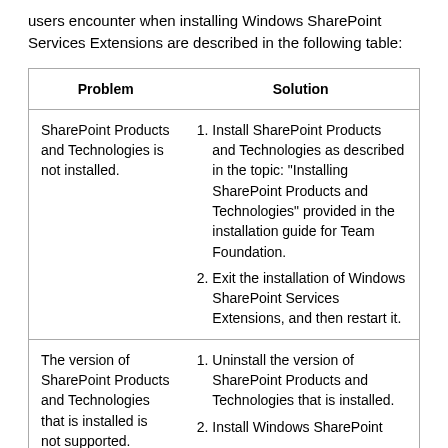users encounter when installing Windows SharePoint Services Extensions are described in the following table:
| Problem | Solution |
| --- | --- |
| SharePoint Products and Technologies is not installed. | 1. Install SharePoint Products and Technologies as described in the topic: "Installing SharePoint Products and Technologies" provided in the installation guide for Team Foundation.
2. Exit the installation of Windows SharePoint Services Extensions, and then restart it. |
| The version of SharePoint Products and Technologies that is installed is not supported. | 1. Uninstall the version of SharePoint Products and Technologies that is installed.
2. Install Windows SharePoint |